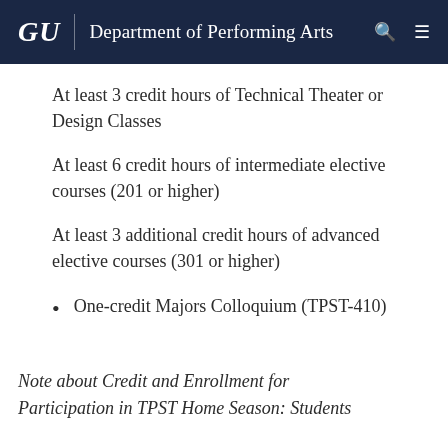GU | Department of Performing Arts
At least 3 credit hours of Technical Theater or Design Classes
At least 6 credit hours of intermediate elective courses (201 or higher)
At least 3 additional credit hours of advanced elective courses (301 or higher)
One-credit Majors Colloquium (TPST-410)
Note about Credit and Enrollment for Participation in TPST Home Season: Students